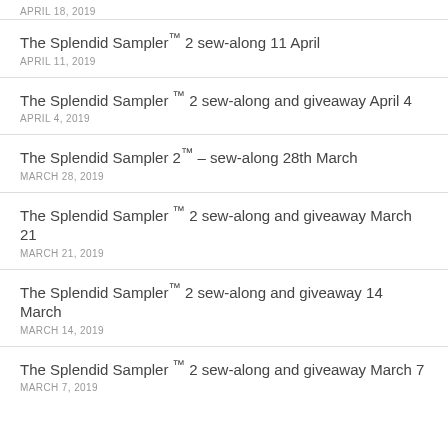APRIL 18, 2019
The Splendid Sampler™ 2 sew-along 11 April
APRIL 11, 2019
The Splendid Sampler ™ 2 sew-along and giveaway April 4
APRIL 4, 2019
The Splendid Sampler 2™ – sew-along 28th March
MARCH 28, 2019
The Splendid Sampler ™ 2 sew-along and giveaway March 21
MARCH 21, 2019
The Splendid Sampler™ 2 sew-along and giveaway 14 March
MARCH 14, 2019
The Splendid Sampler ™ 2 sew-along and giveaway March 7
MARCH 7, 2019